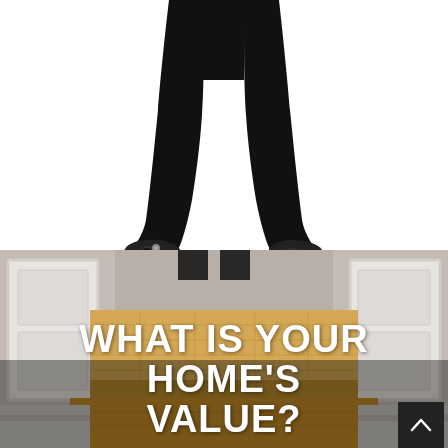[Figure (photo): Lower half of a person wearing black wide-leg trousers and black peep-toe heeled shoes, standing against a white background]
[Figure (photo): Interior home entryway with light wood floor steps, white doors on either side, photographed from a low angle with warm natural light]
WHAT IS YOUR HOME'S VALUE?